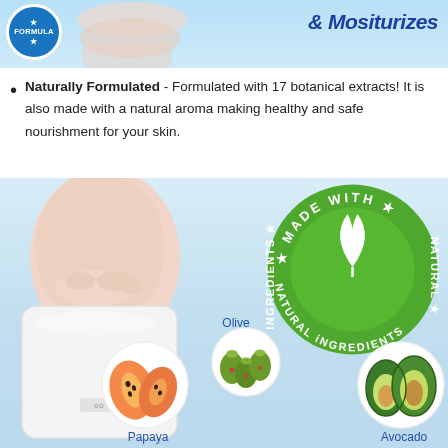[Figure (infographic): Top banner with blue background showing a hand/cream image on the left, a formula badge circle on far left, and decorative text '& Mositurizes' on the right in dark blue italic font]
Naturally Formulated - Formulated with 17 botanical extracts! It is also made with a natural aroma making healthy and safe nourishment for your skin.
[Figure (photo): Product lifestyle image showing a person putting on a white foot peeling mask/sock on a light blue background. On the right side is a green circular badge reading 'MADE WITH NATURAL INGREDIENTS' with a white leaf icon. At the bottom are three ingredient circles showing Papaya, Olive, and Avocado with labels.]